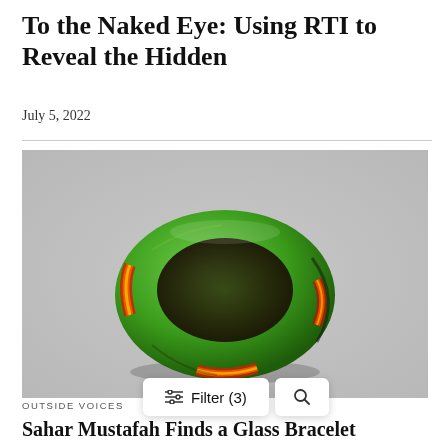To the Naked Eye: Using RTI to Reveal the Hidden
July 5, 2022
[Figure (photo): A colorful glass bracelet (bangle) with green, red, orange, and yellow striped decoration, photographed against a light gray background.]
OUTSIDE VOICES
Sahar Mustafah Finds a Glass Bracelet